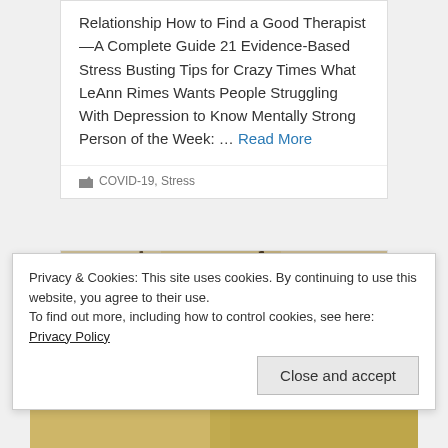Relationship How to Find a Good Therapist—A Complete Guide 21 Evidence-Based Stress Busting Tips for Crazy Times What LeAnn Rimes Wants People Struggling With Depression to Know Mentally Strong Person of the Week: … Read More
🏷COVID-19, Stress
[Figure (photo): Close-up photo of cracked dry stone or earth surface with deep fissures]
Privacy & Cookies: This site uses cookies. By continuing to use this website, you agree to their use.
To find out more, including how to control cookies, see here: Privacy Policy
Close and accept
[Figure (photo): Partial view of another photo at the bottom of the page]